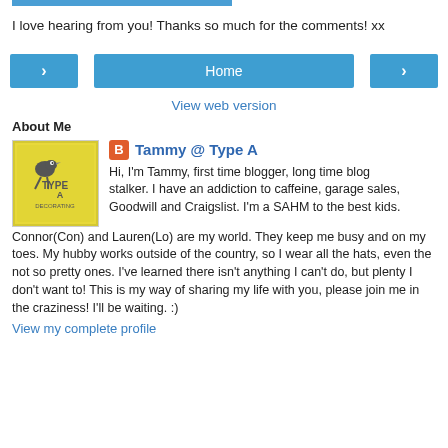I love hearing from you! Thanks so much for the comments! xx
[Figure (other): Navigation buttons: left arrow, Home, right arrow]
View web version
About Me
[Figure (illustration): Type A Decorating blog logo - yellow decorative square with bird silhouette and text TYPEA DECORATING]
Tammy @ Type A
Hi, I'm Tammy, first time blogger, long time blog stalker. I have an addiction to caffeine, garage sales, Goodwill and Craigslist. I'm a SAHM to the best kids. Connor(Con) and Lauren(Lo) are my world. They keep me busy and on my toes. My hubby works outside of the country, so I wear all the hats, even the not so pretty ones. I've learned there isn't anything I can't do, but plenty I don't want to! This is my way of sharing my life with you, please join me in the craziness! I'll be waiting. :)
View my complete profile